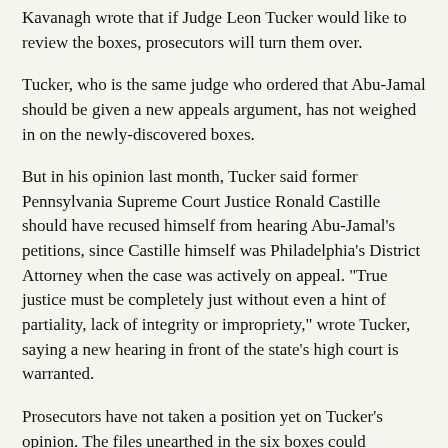Kavanagh wrote that if Judge Leon Tucker would like to review the boxes, prosecutors will turn them over.
Tucker, who is the same judge who ordered that Abu-Jamal should be given a new appeals argument, has not weighed in on the newly-discovered boxes.
But in his opinion last month, Tucker said former Pennsylvania Supreme Court Justice Ronald Castille should have recused himself from hearing Abu-Jamal's petitions, since Castille himself was Philadelphia's District Attorney when the case was actively on appeal. "True justice must be completely just without even a hint of partiality, lack of integrity or impropriety," wrote Tucker, saying a new hearing in front of the state's high court is warranted.
Prosecutors have not taken a position yet on Tucker's opinion. The files unearthed in the six boxes could influence whether Krasner's office supports or opposes a new hearing for Abu-Jamal.
Wolkenstein said the thousands of people who have joined the "Free Mumia" movement around the globe should be able to review the documents themselves.